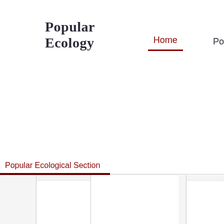Popular Ecology
Home
Po
Popular Ecological Section